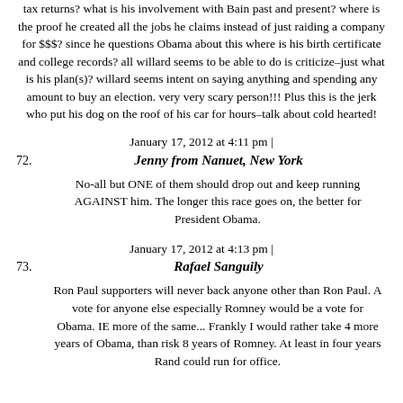tax returns? what is his involvement with Bain past and present? where is the proof he created all the jobs he claims instead of just raiding a company for $$$? since he questions Obama about this where is his birth certificate and college records? all willard seems to be able to do is criticize–just what is his plan(s)? willard seems intent on saying anything and spending any amount to buy an election. very very scary person!!! Plus this is the jerk who put his dog on the roof of his car for hours–talk about cold hearted!
January 17, 2012 at 4:11 pm |
72. Jenny from Nanuet, New York
No-all but ONE of them should drop out and keep running AGAINST him. The longer this race goes on, the better for President Obama.
January 17, 2012 at 4:13 pm |
73. Rafael Sanguily
Ron Paul supporters will never back anyone other than Ron Paul. A vote for anyone else especially Romney would be a vote for Obama. IE more of the same... Frankly I would rather take 4 more years of Obama, than risk 8 years of Romney. At least in four years Rand could run for office.